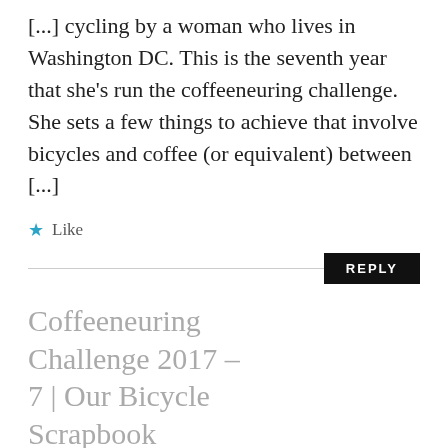[...] cycling by a woman who lives in Washington DC. This is the seventh year that she’s run the coffeeneuring challenge. She sets a few things to achieve that involve bicycles and coffee (or equivalent) between [...]
★ Like
REPLY
Coffeeneuring Challenge 2017 – 7 | Our Bicycle Scrapbook